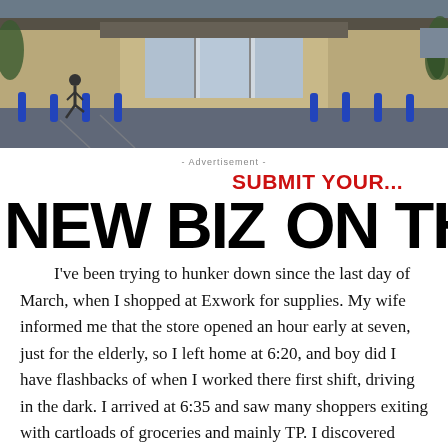[Figure (photo): Exterior photo of a large retail store (Walmart-style) with blue bollards in the parking lot, entrance doors visible, taken during early morning light.]
- Advertisement -
[Figure (infographic): Advertisement banner reading 'SUBMIT YOUR...' in red above 'NEW BIZ  ON THI' in large black bold text]
I've been trying to hunker down since the last day of March, when I shopped at Exwork for supplies.  My wife informed me that the store opened an hour early at seven, just for the elderly, so I left home at 6:20, and boy did I have flashbacks of when I worked there first shift, driving in the dark.  I arrived at 6:35 and saw many shoppers exiting with cartloads of groceries and mainly TP.  I discovered from an employee friend that the hour-early started at six, not seven.  Oh well.